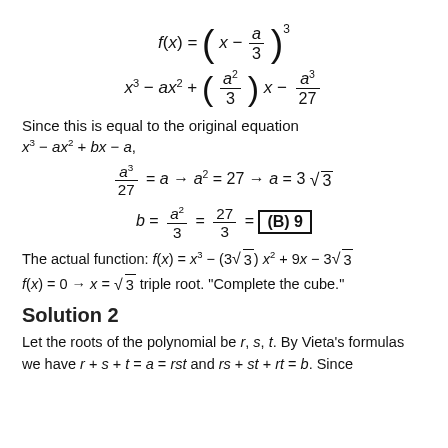Since this is equal to the original equation x³ − ax² + bx − a,
The actual function: f(x) = x³ − (3√3) x² + 9x − 3√3
f(x) = 0 → x = √3 triple root. "Complete the cube."
Solution 2
Let the roots of the polynomial be r, s, t. By Vieta's formulas we have r + s + t = a = rst and rs + st + rt = b. Since